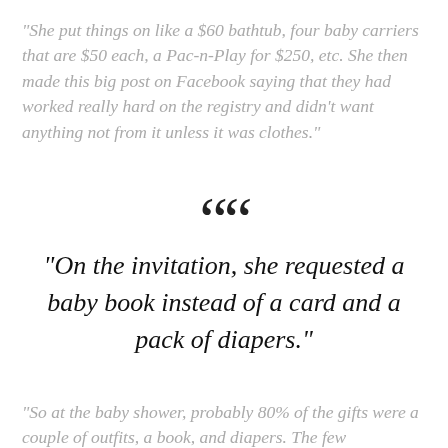“She put things on like a $60 bathtub, four baby carriers that are $50 each, a Pac-n-Play for $250, etc. She then made this big post on Facebook saying that they had worked really hard on the registry and didn’t want anything not from it unless it was clothes.”
““
“On the invitation, she requested a baby book instead of a card and a pack of diapers.”
“So at the baby shower, probably 80% of the gifts were a couple of outfits, a book, and diapers. The few